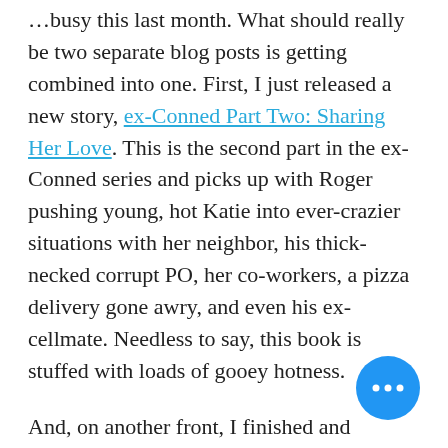...busy this last month. What should really be two separate blog posts is getting combined into one. First, I just released a new story, ex-Conned Part Two: Sharing Her Love. This is the second part in the ex-Conned series and picks up with Roger pushing young, hot Katie into ever-crazier situations with her neighbor, his thick-necked corrupt PO, her co-workers, a pizza delivery gone awry, and even his ex-cellmate. Needless to say, this book is stuffed with loads of gooey hotness.
And, on another front, I finished and released V0.40 of The Office Wife Game. In this latest release, we find Stacy Jones indulging her impulse more and more. Sometimes it's by...